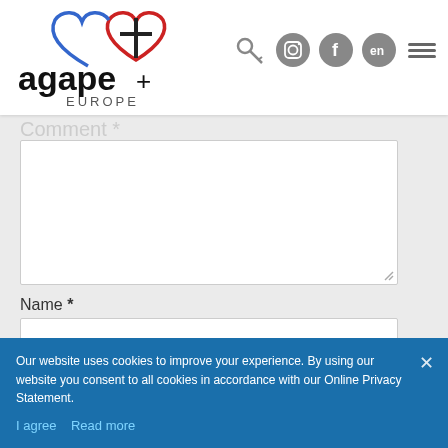[Figure (logo): Agape Europe logo with heart and cross icon, text 'agape EUROPE']
[Figure (screenshot): Navigation bar with key icon, Instagram icon, Facebook icon, EN language selector, and hamburger menu]
Comment *
[Figure (screenshot): Large comment textarea input field]
Name *
[Figure (screenshot): Name input text field]
Email *
[Figure (screenshot): Email input text field]
[Figure (screenshot): reCAPTCHA widget with checkbox and 'I'm not a robot' text]
Our website uses cookies to improve your experience. By using our website you consent to all cookies in accordance with our Online Privacy Statement.
I agree   Read more